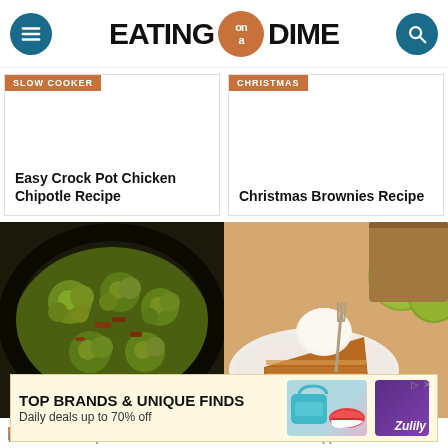[Figure (logo): Eating on a Dime website header with hamburger menu button (teal circle), logo text EATING on a DIME with 'on a' in orange circle badge, and search icon (teal circle)]
SLOW COOKER
Easy Crock Pot Chicken Chipotle Recipe
CHRISTMAS
Christmas Brownies Recipe
[Figure (photo): Brussels sprouts with bacon in a cast iron skillet, overhead view]
[Figure (photo): Slice of apple pie with ice cream on a white plate, green apples in background]
SIDE
[Figure (screenshot): Advertisement banner: TOP BRANDS & UNIQUE FINDS, Daily deals up to 70% off, Zulily. Shows bag and shoe images with Zulily branding in purple.]
Bacon Brussel Sprouts
Salted Caramel Apple...